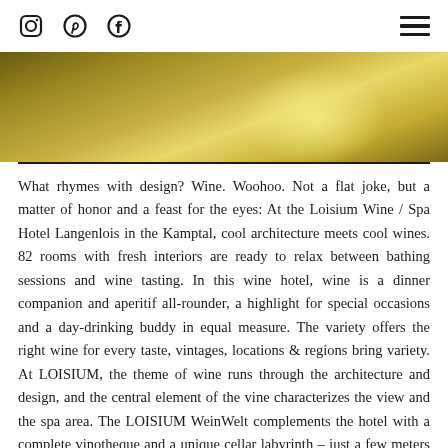[Social icons: Instagram, Pinterest, Facebook] [Hamburger menu]
[Figure (photo): Architectural interior photo showing golden/yellow toned modern design with geometric shapes and warm lighting]
What rhymes with design? Wine. Woohoo. Not a flat joke, but a matter of honor and a feast for the eyes: At the Loisium Wine / Spa Hotel Langenlois in the Kamptal, cool architecture meets cool wines. 82 rooms with fresh interiors are ready to relax between bathing sessions and wine tasting. In this wine hotel, wine is a dinner companion and aperitif all-rounder, a highlight for special occasions and a day-drinking buddy in equal measure. The variety offers the right wine for every taste, vintages, locations & regions bring variety. At LOISIUM, the theme of wine runs through the architecture and design, and the central element of the vine characterizes the view and the spa area. The LOISIUM WeinWelt complements the hotel with a complete vinotheque and a unique cellar labyrinth – just a few meters away. Curious wine discoverers should therefore get their money's worth.